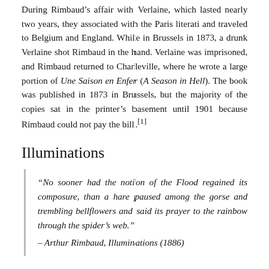During Rimbaud's affair with Verlaine, which lasted nearly two years, they associated with the Paris literati and traveled to Belgium and England. While in Brussels in 1873, a drunk Verlaine shot Rimbaud in the hand. Verlaine was imprisoned, and Rimbaud returned to Charleville, where he wrote a large portion of Une Saison en Enfer (A Season in Hell). The book was published in 1873 in Brussels, but the majority of the copies sat in the printer's basement until 1901 because Rimbaud could not pay the bill.[1]
Illuminations
“No sooner had the notion of the Flood regained its composure, than a hare paused among the gorse and trembling bellflowers and said its prayer to the rainbow through the spider’s web.”
– Arthur Rimbaud, Illuminations (1886)